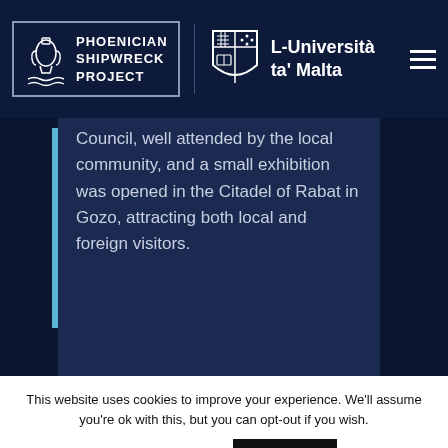[Figure (logo): Phoenician Shipwreck Project logo with amphora icon and text, alongside L-Università ta' Malta shield logo, on dark navy header bar with hamburger menu icon]
Council, well attended by the local community, and a small exhibition was opened in the Citadel of Rabat in Gozo, attracting both local and foreign visitors.
This website uses cookies to improve your experience. We'll assume you're ok with this, but you can opt-out if you wish.
Cookie settings   ACCEPT